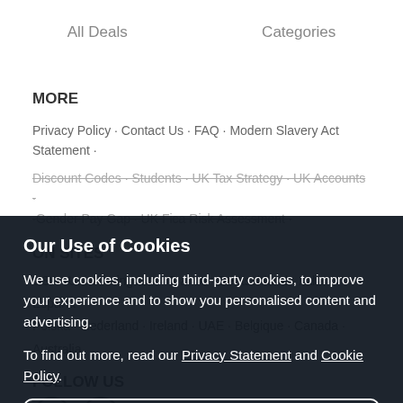All Deals · Categories
MORE
Privacy Policy · Contact Us · FAQ · Modern Slavery Act Statement ·
Discount Codes · Students · UK Tax Strategy · UK Accounts ·
·Gender Pay Gap · UK Fica Risk Assessment ·
ON SITES
USA · United Kingdom · France · Deutschland · Italia · España ·
Polska · Nederland · Ireland · UAE · Belgique · Canada · Australia
FOLLOW US
Our Use of Cookies
We use cookies, including third-party cookies, to improve your experience and to show you personalised content and advertising.
To find out more, read our Privacy Statement and Cookie Policy.
Accept All
Reject All
My Options
Sale ends in: 6 days 09:46:57